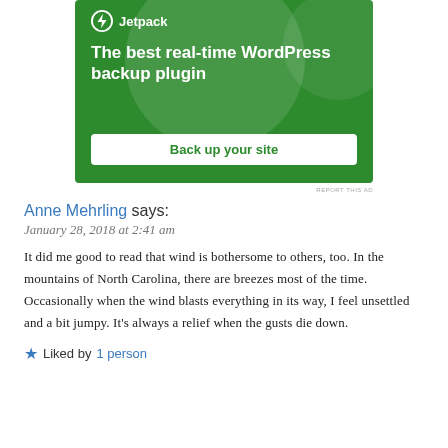[Figure (illustration): Jetpack advertisement banner with green background. Shows the Jetpack logo (lightning bolt circle icon + 'Jetpack' text) at top left. Large headline text: 'The best real-time WordPress backup plugin'. A white button reads 'Back up your site'. Decorative translucent circles in background.]
REPORT THIS AD
Anne Mehrling says:
January 28, 2018 at 2:41 am
It did me good to read that wind is bothersome to others, too. In the mountains of North Carolina, there are breezes most of the time. Occasionally when the wind blasts everything in its way, I feel unsettled and a bit jumpy. It's always a relief when the gusts die down.
Liked by 1 person